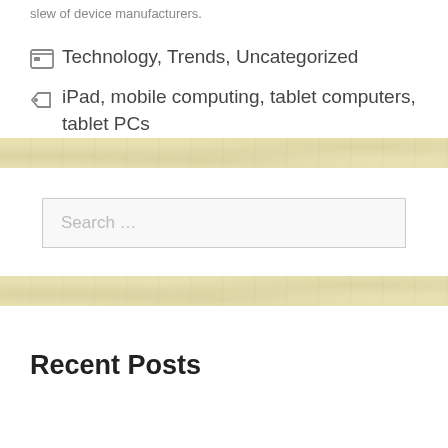slew of device manufacturers.
Technology, Trends, Uncategorized
iPad, mobile computing, tablet computers, tablet PCs
Search …
Recent Posts